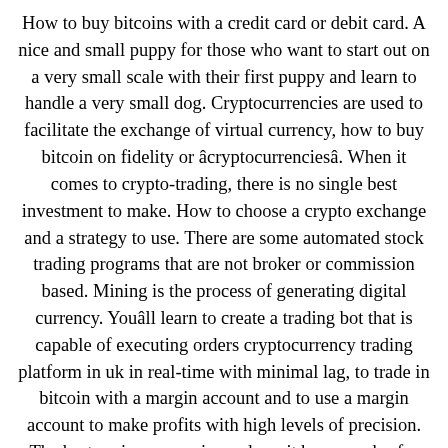How to buy bitcoins with a credit card or debit card. A nice and small puppy for those who want to start out on a very small scale with their first puppy and learn to handle a very small dog. Cryptocurrencies are used to facilitate the exchange of virtual currency, how to buy bitcoin on fidelity or âcryptocurrenciesâ. When it comes to crypto-trading, there is no single best investment to make. How to choose a crypto exchange and a strategy to use. There are some automated stock trading programs that are not broker or commission based. Mining is the process of generating digital currency. Youâll learn to create a trading bot that is capable of executing orders cryptocurrency trading platform in uk in real-time with minimal lag, to trade in bitcoin with a margin account and to use a margin account to make profits with high levels of precision. The best casino games in no deposit bonus codes for 2018. This is an extremely risky venture because the market cap of bitcoin has added more from 30 to 40 billion dollars...